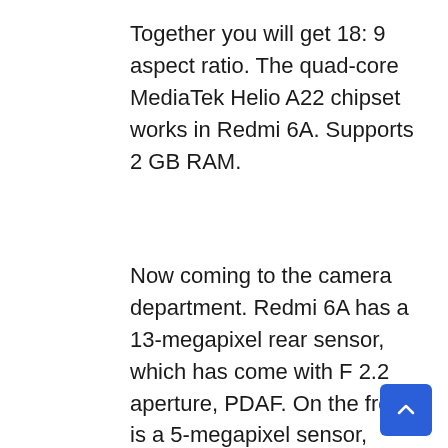Together you will get 18: 9 aspect ratio. The quad-core MediaTek Helio A22 chipset works in Redmi 6A. Supports 2 GB RAM.
Now coming to the camera department. Redmi 6A has a 13-megapixel rear sensor, which has come with F 2.2 aperture, PDAF. On the front is a 5-megapixel sensor, which can be used for portrait mode selfie and video calling. Inbuilt storage is 16 GB, which has been given keeping in mind the budget phone. The phone has 3000 mAh battery. The total weight of the